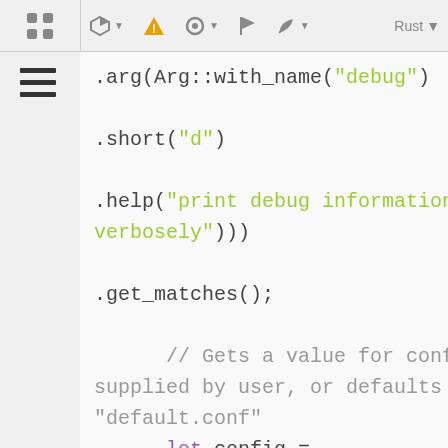Toolbar with icons: cube, warning, settings, flag, leaf, Rust
.arg(Arg::with_name("debug")
.short("d")
.help("print debug information verbosely")))
.get_matches();

    // Gets a value for config if supplied by user, or defaults to "default.conf"
    let config = matches.value_of("config").unwrap_or("
    println!("Value for config: {}", config);

    // Calling .unwrap() is safe